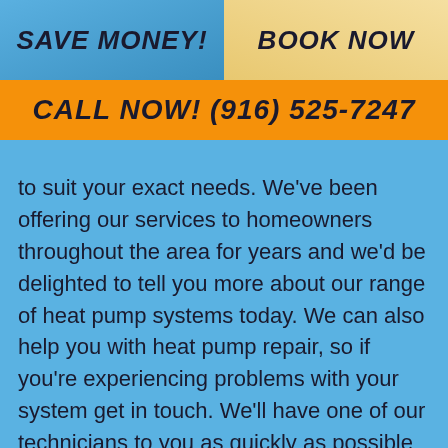SAVE MONEY!
BOOK NOW
CALL NOW! (916) 525-7247
to suit your exact needs. We've been offering our services to homeowners throughout the area for years and we'd be delighted to tell you more about our range of heat pump systems today. We can also help you with heat pump repair, so if you're experiencing problems with your system get in touch. We'll have one of our technicians to you as quickly as possible to solve the problem. Heat pumps are one of the most energy-efficient heating and cooling systems available today. The